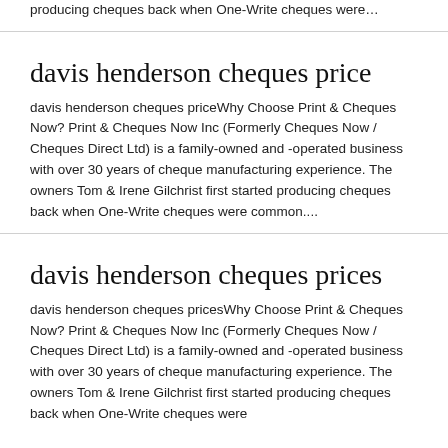producing cheques back when One-Write cheques were…
davis henderson cheques price
davis henderson cheques priceWhy Choose Print & Cheques Now? Print & Cheques Now Inc (Formerly Cheques Now / Cheques Direct Ltd) is a family-owned and -operated business with over 30 years of cheque manufacturing experience. The owners Tom & Irene Gilchrist first started producing cheques back when One-Write cheques were common....
davis henderson cheques prices
davis henderson cheques pricesWhy Choose Print & Cheques Now? Print & Cheques Now Inc (Formerly Cheques Now / Cheques Direct Ltd) is a family-owned and -operated business with over 30 years of cheque manufacturing experience. The owners Tom & Irene Gilchrist first started producing cheques back when One-Write cheques were